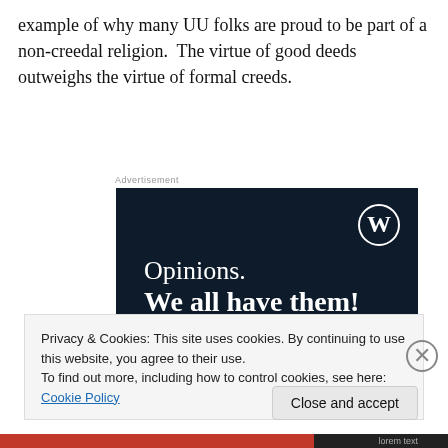example of why many UU folks are proud to be part of a non-creedal religion.  The virtue of good deeds outweighs the virtue of formal creeds.
[Figure (screenshot): WordPress.com advertisement with dark navy background showing the WordPress logo (W in a circle) in the top right, text 'Opinions.' in white serif font, followed by bold 'We all have them!' in white, a pink/magenta button at the bottom left, and a light grey circle at the bottom right.]
Privacy & Cookies: This site uses cookies. By continuing to use this website, you agree to their use.
To find out more, including how to control cookies, see here: Cookie Policy
Close and accept